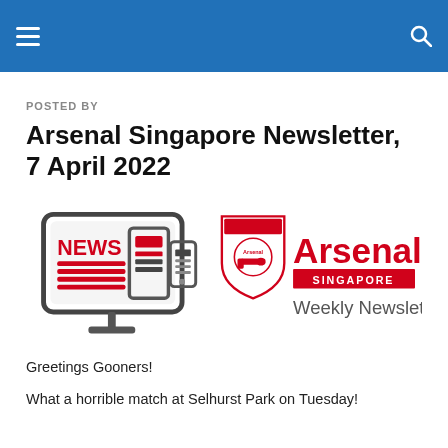POSTED BY
Arsenal Singapore Newsletter, 7 April 2022
[Figure (illustration): Left: monitor/tablet/phone icon with NEWS text in red and red content bars. Right: Arsenal Singapore Weekly Newsletter logo with cannon crest badge and red/grey text.]
Greetings Gooners!
What a horrible match at Selhurst Park on Tuesday!